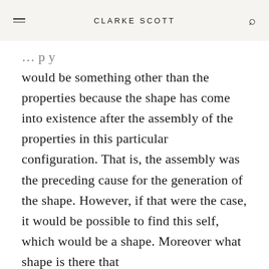CLARKE SCOTT
would be something other than the properties because the shape has come into existence after the assembly of the properties in this particular configuration. That is, the assembly was the preceding cause for the generation of the shape. However, if that were the case, it would be possible to find this self, which would be a shape. Moreover what shape is there that